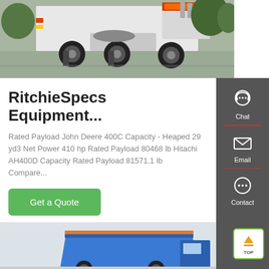[Figure (photo): Rear view of a large white semi-truck/tractor unit parked on a concrete surface, with trees visible in the background and a Chinese text LED sign visible on top.]
RitchieSpecs Equipment...
Rated Payload John Deere 400C Capacity - Heaped 29 yd3 Net Power 410 hp Rated Payload 80468 lb Hitachi AH400D Capacity Rated Payload 81571.1 lb Compare...
Get a Quote
[Figure (photo): Partial view of blue and orange heavy equipment/dump truck body at bottom of page.]
[Figure (infographic): Sidebar with dark grey background showing three contact options: Chat (headset icon), Email (envelope icon), and Contact (speech bubble icon), separated by red dividers.]